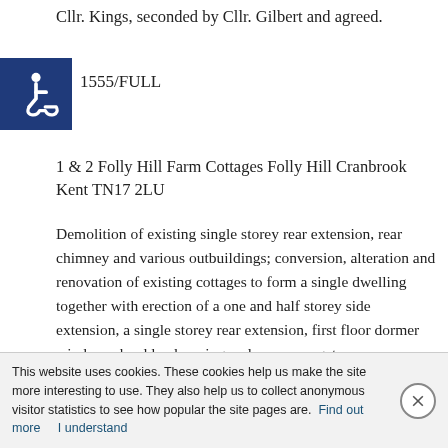Cllr. Kings, seconded by Cllr. Gilbert and agreed.
1555/FULL
1 & 2 Folly Hill Farm Cottages Folly Hill Cranbrook Kent TN17 2LU
Demolition of existing single storey rear extension, rear chimney and various outbuildings; conversion, alteration and renovation of existing cottages to form a single dwelling together with erection of a one and half storey side extension, a single storey rear extension, first floor dormer windows, hard landscaping and an access gate.
The Parish Council recommended APPROVAL proposed by
This website uses cookies. These cookies help us make the site more interesting to use. They also help us to collect anonymous visitor statistics to see how popular the site pages are.  Find out more      I understand